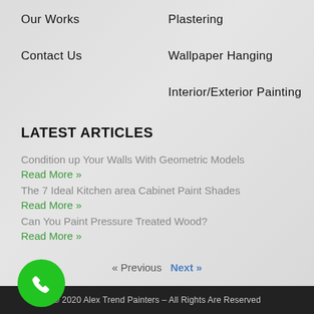Our Works
Contact Us
Plastering
Wallpaper Hanging
Interior/Exterior Painting
LATEST ARTICLES
Condition up Your Walls With Geometric Models
Read More »
The 7 Ideal Kitchen area Cabinet Paint Shades
Read More »
Can You Paint Pressure Treated Wood?
Read More »
« Previous   Next »
[Figure (illustration): Green circular phone button icon]
© 2020 Alex Trend Painters – All Rights Are Reserved